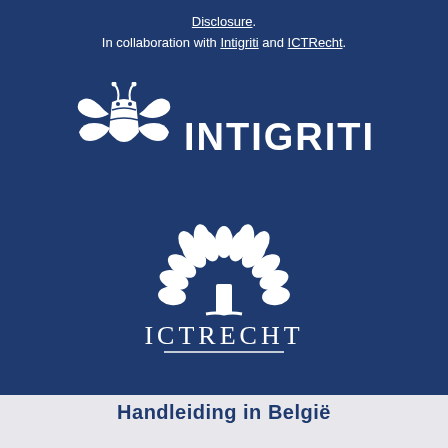Disclosure. In collaboration with Intigriti and ICTRecht.
[Figure (logo): Intigriti logo: white bee/wasp icon on left, white text INTIGRITI on right, on dark blue background]
[Figure (logo): ICTRecht logo: white tree icon above white text ICTRECHT with horizontal underline, on dark blue background]
Handleiding in Belgie...